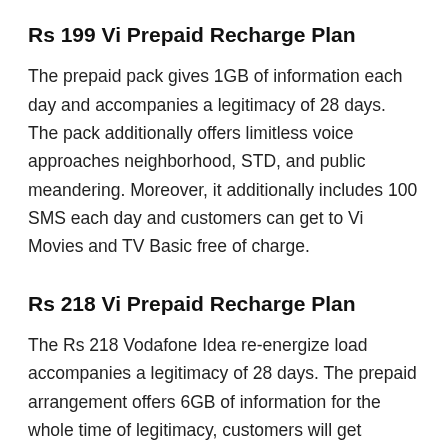Rs 199 Vi Prepaid Recharge Plan
The prepaid pack gives 1GB of information each day and accompanies a legitimacy of 28 days. The pack additionally offers limitless voice approaches neighborhood, STD, and public meandering. Moreover, it additionally includes 100 SMS each day and customers can get to Vi Movies and TV Basic free of charge.
Rs 218 Vi Prepaid Recharge Plan
The Rs 218 Vodafone Idea re-energize load accompanies a legitimacy of 28 days. The prepaid arrangement offers 6GB of information for the whole time of legitimacy, customers will get